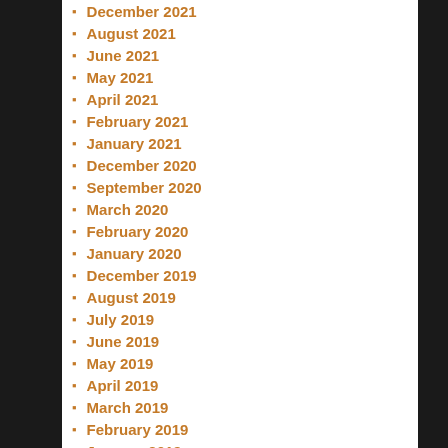December 2021
August 2021
June 2021
May 2021
April 2021
February 2021
January 2021
December 2020
September 2020
March 2020
February 2020
January 2020
December 2019
August 2019
July 2019
June 2019
May 2019
April 2019
March 2019
February 2019
January 2019
December 2018